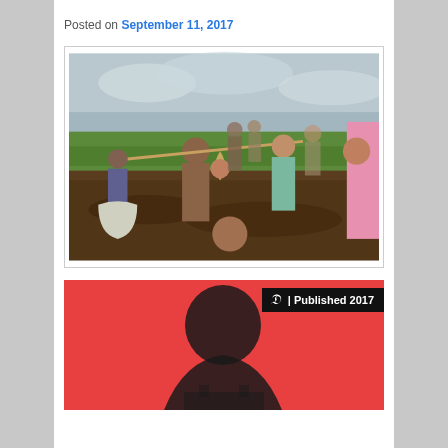Posted on September 11, 2017
[Figure (photo): Rohingya refugees wading through mud, carrying belongings and children, with green rice fields in the background under an overcast sky.]
[Figure (photo): Red-background image with a dark silhouette of a person's head and upper body, with a New York Times badge reading 'Published 2017' in the upper right corner.]